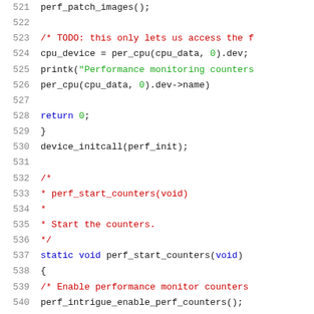[Figure (screenshot): Source code listing (C language) showing lines 521–541 with syntax highlighting. Line numbers in grey on left, keywords in blue, comments in red, strings/numbers in green, identifiers in black.]